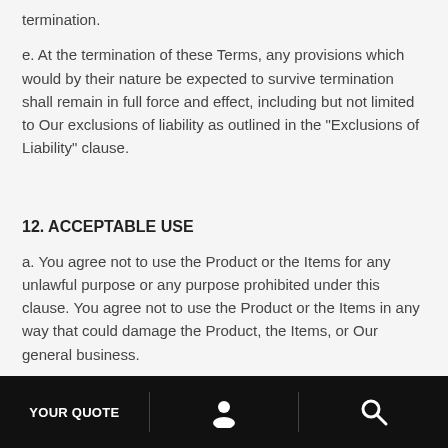termination.
e. At the termination of these Terms, any provisions which would by their nature be expected to survive termination shall remain in full force and effect, including but not limited to Our exclusions of liability as outlined in the "Exclusions of Liability" clause.
12. ACCEPTABLE USE
a. You agree not to use the Product or the Items for any unlawful purpose or any purpose prohibited under this clause. You agree not to use the Product or the Items in any way that could damage the Product, the Items, or Our general business.
b. You further agree not to use the Product or the Items:
YOUR QUOTE  [person icon]  [search icon]